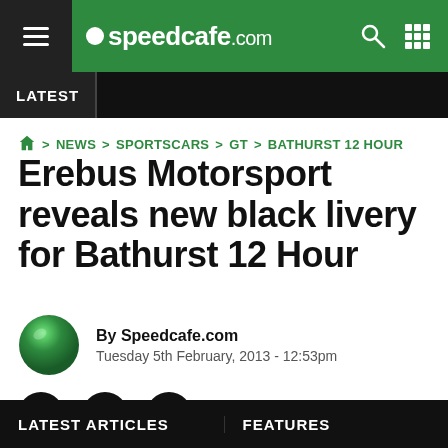speedcafe.com
LATEST
> NEWS > SPORTSCARS > GT > BATHURST 12 HOUR
Erebus Motorsport reveals new black livery for Bathurst 12 Hour
By Speedcafe.com
Tuesday 5th February, 2013 - 12:53pm
[Figure (logo): Social share icons: Facebook, Twitter, Email]
LATEST ARTICLES    FEATURES